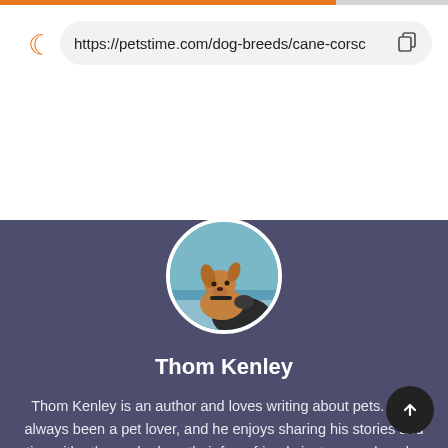[Figure (screenshot): Mobile browser address bar showing URL https://petstime.com/dog-breeds/cane-corsc with a dark mode moon icon and copy button]
[Figure (photo): Circular avatar photo of a dog at the beach, looking upward, with a person holding it]
Thom Kenley
Thom Kenley is an author and loves writing about pets. He's always been a pet lover, and he enjoys sharing his stories and tips with others who love their furry friends just as much as he does. He's written articles for various websites and magazines, and he's excited to continue writing about pets and helping owners keep their animals healthy and happy.